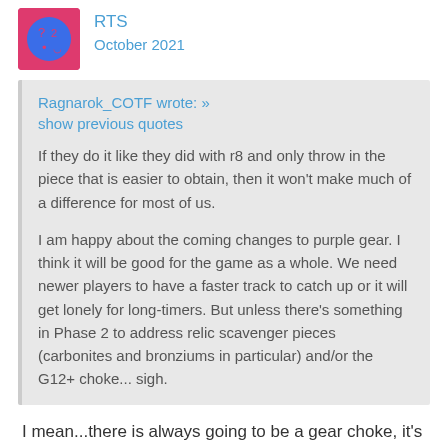RTS
October 2021
Ragnarok_COTF wrote: »
show previous quotes

If they do it like they did with r8 and only throw in the piece that is easier to obtain, then it won't make much of a difference for most of us.

I am happy about the coming changes to purple gear. I think it will be good for the game as a whole. We need newer players to have a faster track to catch up or it will get lonely for long-timers. But unless there's something in Phase 2 to address relic scavenger pieces (carbonites and bronziums in particular) and/or the G12+ choke... sigh.
I mean...there is always going to be a gear choke, it's how games like this exist.
If there's anything that is...